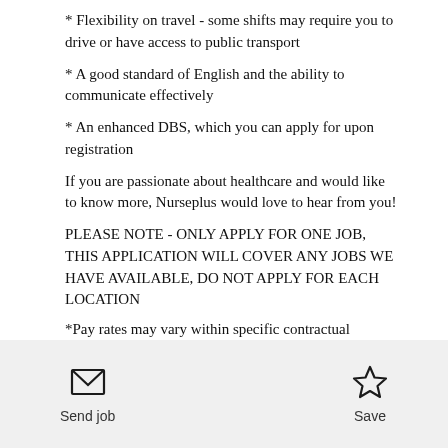* Flexibility on travel - some shifts may require you to drive or have access to public transport
* A good standard of English and the ability to communicate effectively
* An enhanced DBS, which you can apply for upon registration
If you are passionate about healthcare and would like to know more, Nurseplus would love to hear from you!
PLEASE NOTE - ONLY APPLY FOR ONE JOB, THIS APPLICATION WILL COVER ANY JOBS WE HAVE AVAILABLE, DO NOT APPLY FOR EACH LOCATION
*Pay rates may vary within specific contractual
Send job   Save